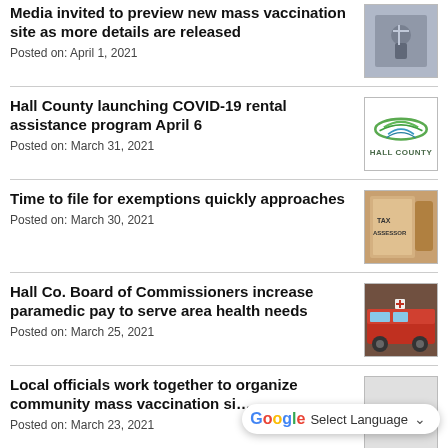Media invited to preview new mass vaccination site as more details are released
Posted on: April 1, 2021
Hall County launching COVID-19 rental assistance program April 6
Posted on: March 31, 2021
Time to file for exemptions quickly approaches
Posted on: March 30, 2021
Hall Co. Board of Commissioners increase paramedic pay to serve area health needs
Posted on: March 25, 2021
Local officials work together to organize community mass vaccination site
Posted on: March 23, 2021